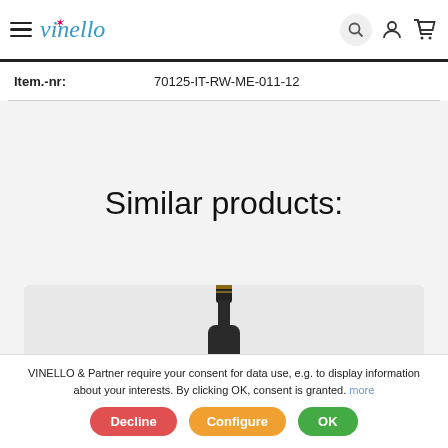vinello (logo with hamburger menu, search, user, cart icons)
| Item.-nr: | 70125-IT-RW-ME-011-12 |
| --- | --- |
Similar products:
[Figure (photo): Wine bottle (champagne/sparkling) with dark foil cap, shown from neck upward against a light gray background]
VINELLO & Partner require your consent for data use, e.g. to display information about your interests. By clicking OK, consent is granted. more
Decline | Configure | OK